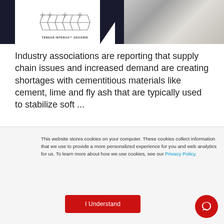[Figure (photo): Tensar Interax Geogrid product image on left with white background, rocky/snowy terrain on right with dark background]
Industry associations are reporting that supply chain issues and increased demand are creating shortages with cementitious materials like cement, lime and fly ash that are typically used to stabilize soft ...
This website stores cookies on your computer. These cookies collect information that we use to provide a more personalized experience for you and web analytics for us. To learn more about how we use cookies, see our Privacy Policy.